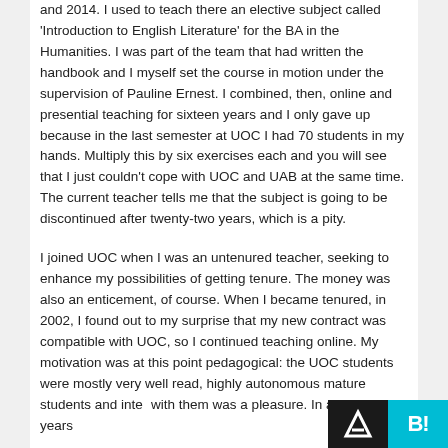and 2014. I used to teach there an elective subject called 'Introduction to English Literature' for the BA in the Humanities. I was part of the team that had written the handbook and I myself set the course in motion under the supervision of Pauline Ernest. I combined, then, online and presential teaching for sixteen years and I only gave up because in the last semester at UOC I had 70 students in my hands. Multiply this by six exercises each and you will see that I just couldn't cope with UOC and UAB at the same time. The current teacher tells me that the subject is going to be discontinued after twenty-two years, which is a pity.
I joined UOC when I was an untenured teacher, seeking to enhance my possibilities of getting tenure. The money was also an enticement, of course. When I became tenured, in 2002, I found out to my surprise that my new contract was compatible with UOC, so I continued teaching online. My motivation was at this point pedagogical: the UOC students were mostly very well read, highly autonomous mature students and interacting with them was a pleasure. In all my sixteen years...